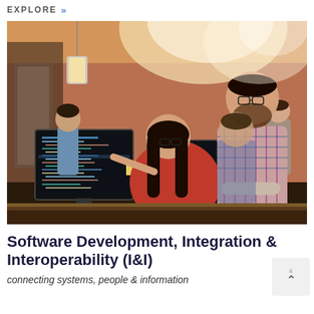EXPLORE »
[Figure (photo): Office scene with four people: a woman with long dark hair sitting at a desk pointing at a computer monitor showing code, a bearded man in a plaid shirt leaning over to look, another man standing in the background, and a woman standing further back. The office has exposed brick walls and pendant lights.]
Software Development, Integration & Interoperability (I&I)
connecting systems, people & information